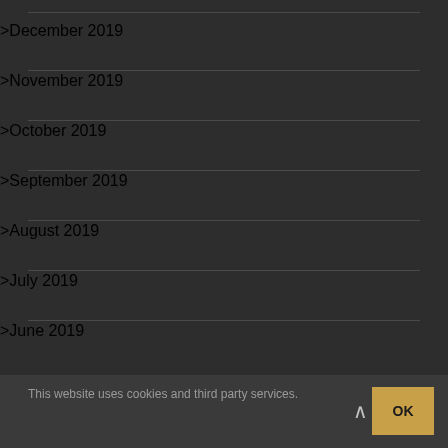> December 2019
> November 2019
> October 2019
> September 2019
> August 2019
> July 2019
> June 2019
This website uses cookies and third party services.  OK